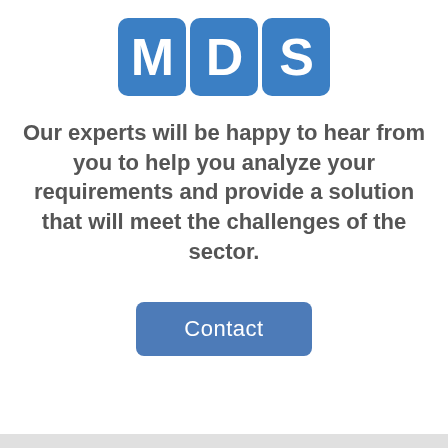[Figure (logo): MDS logo with three blue rounded rectangles each containing a white letter: M, D, S]
Our experts will be happy to hear from you to help you analyze your requirements and provide a solution that will meet the challenges of the sector.
Contact